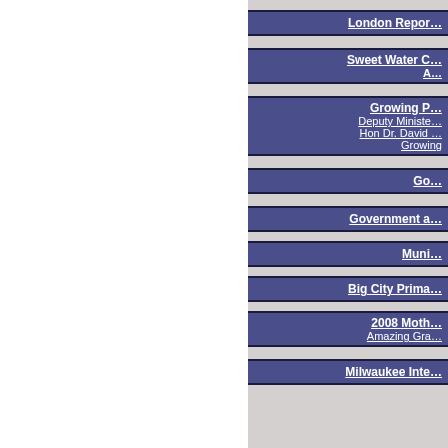London Repor…
Sweet Water C… A…
Growing P… Deputy Ministe… Hon Dr. David … Growing
Go…
Government a…
Muni…
Big City Prima…
2008 Moth… Amazing Gra…
Milwaukee Inte…